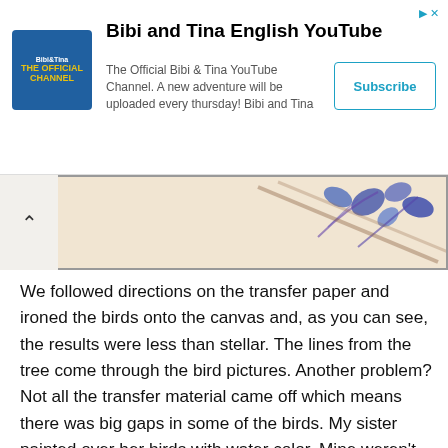[Figure (other): Advertisement banner for Bibi and Tina English YouTube channel with logo, description text, and Subscribe button]
[Figure (photo): Partially visible collapsed image strip showing a decorative painting with blue berries/leaves on a light background, with a collapse/up arrow button on the left]
We followed directions on the transfer paper and ironed the birds onto the canvas and, as you can see, the results were less than stellar. The lines from the tree come through the bird pictures. Another problem? Not all the transfer material came off which means there was big gaps in some of the birds. My sister painted over her birds with water color. Mine weren't quite as bad so I left them pretty much alone, but you can still see where the transfer paper gapped.
[Figure (photo): Close-up photo of a craft art canvas showing colorful painted birds (red cardinal on left, green/yellow birds in center and right) with black line art overlaid, with handwritten words like 'Sing', 'Love', 'Clap', 'Live free' visible]